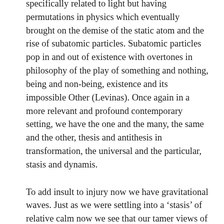specifically related to light but having permutations in physics which eventually brought on the demise of the static atom and the rise of subatomic particles. Subatomic particles pop in and out of existence with overtones in philosophy of the play of something and nothing, being and non-being, existence and its impossible Other (Levinas). Once again in a more relevant and profound contemporary setting, we have the one and the many, the same and the other, thesis and antithesis in transformation, the universal and the particular, stasis and dynamis.
To add insult to injury now we have gravitational waves. Just as we were settling into a ‘stasis’ of relative calm now we see that our tamer views of Einstein’s relativity have been liberated from the static deep well of gravity as space and time and gravity itself as the flux of dynamis, fluid dynamics. We now know that space-time is not a well, a dip or a break (as in a black hole) in the fabric of space-time but that the fabric has been pulled away to bring forth a fluidity of